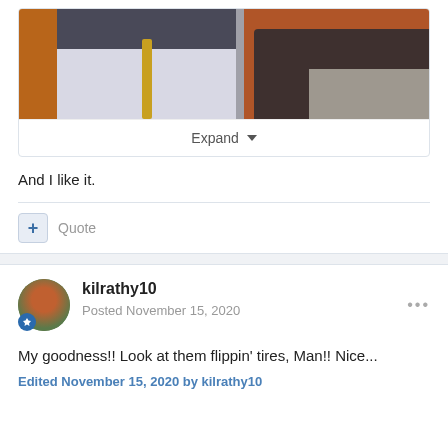[Figure (photo): A partially visible photo showing model trucks/vehicles on a display, a gold/brass pole stand in the center, and a brownish-red wall with a dark vehicle on the right side.]
Expand
And I like it.
Quote
kilrathy10
Posted November 15, 2020
My goodness!! Look at them flippin' tires, Man!! Nice...
Edited November 15, 2020 by kilrathy10